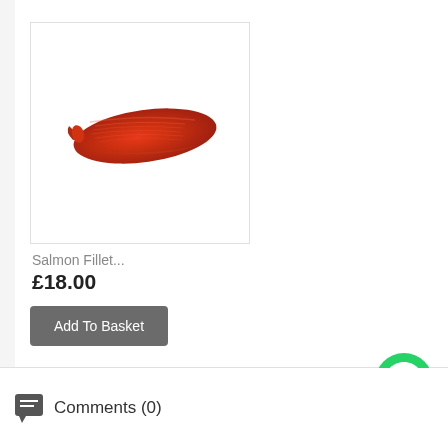[Figure (photo): Product image of a salmon fillet shown on white background inside a bordered card]
Salmon Fillet...
£18.00
Add To Basket
[Figure (logo): WhatsApp green circular button icon in bottom right corner]
[Figure (illustration): Orange circle outline partially visible behind WhatsApp button]
Comments (0)